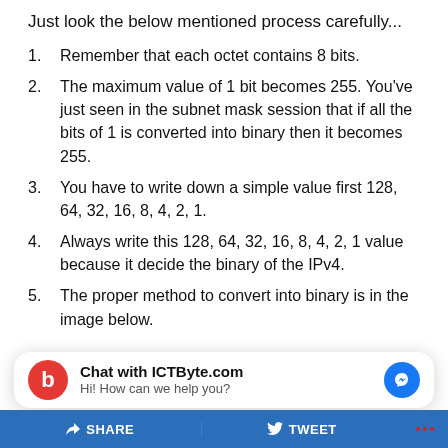Just look the below mentioned process carefully...
Remember that each octet contains 8 bits.
The maximum value of 1 bit becomes 255. You've just seen in the subnet mask session that if all the bits of 1 is converted into binary then it becomes 255.
You have to write down a simple value first 128, 64, 32, 16, 8, 4, 2, 1.
Always write this 128, 64, 32, 16, 8, 4, 2, 1 value because it decide the binary of the IPv4.
The proper method to convert into binary is in the image below.
[Figure (other): Chat widget: ICTByte.com chat popup with messenger icon and 'Hi! How can we help you?' subtitle]
SHARE   TWEET   ...